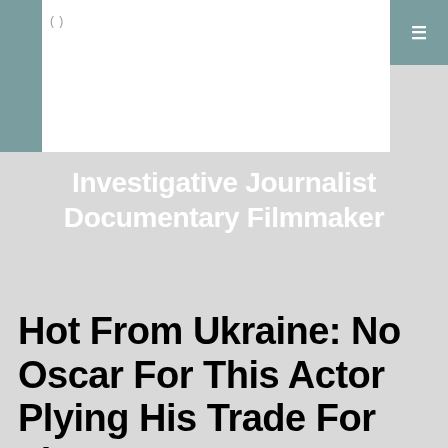( )
Investigative Journalist Documentary Filmmaker
Hot From Ukraine: No Oscar For This Actor Plying His Trade For The